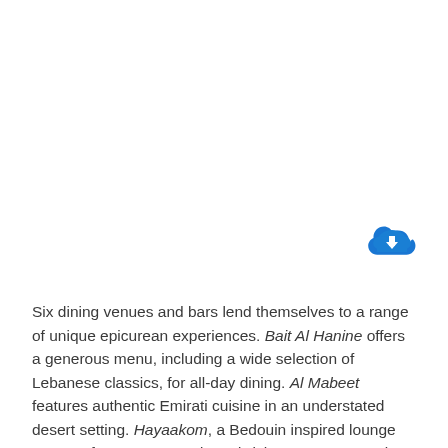[Figure (illustration): Blue cloud icon with a downward arrow, indicating a download action]
Six dining venues and bars lend themselves to a range of unique epicurean experiences. Bait Al Hanine offers a generous menu, including a wide selection of Lebanese classics, for all-day dining. Al Mabeet features authentic Emirati cuisine in an understated desert setting. Hayaakom, a Bedouin inspired lounge serves afternoon tea and sandwiches. Terra Secca is a trattoria-style, classic Italian restaurant that offers guests a theatrical view of the kitchen and chefs. Al Mesayan, an intimate rooftop bar serves as an ideal spot for stargazing or dune watching, while Panache offers a relaxed pool respite